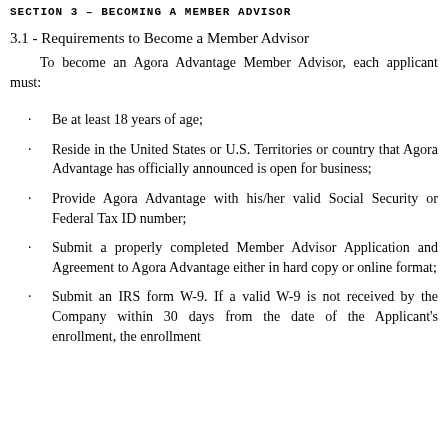SECTION 3 – BECOMING A MEMBER ADVISOR
3.1 - Requirements to Become a Member Advisor
To become an Agora Advantage Member Advisor, each applicant must:
Be at least 18 years of age;
Reside in the United States or U.S. Territories or country that Agora Advantage has officially announced is open for business;
Provide Agora Advantage with his/her valid Social Security or Federal Tax ID number;
Submit a properly completed Member Advisor Application and Agreement to Agora Advantage either in hard copy or online format;
Submit an IRS form W-9. If a valid W-9 is not received by the Company within 30 days from the date of the Applicant's enrollment, the enrollment